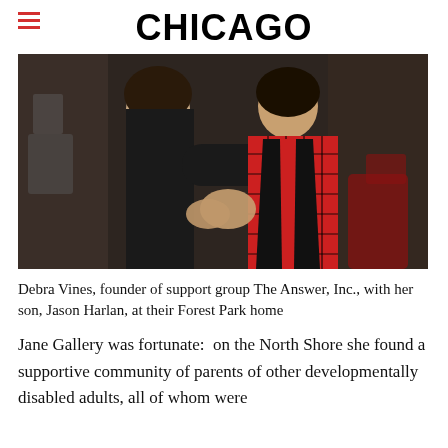CHICAGO
[Figure (photo): Two people posing together indoors, one wearing a black outfit and the other wearing a red plaid shirt with a black vest, in what appears to be a salon or home interior setting.]
Debra Vines, founder of support group The Answer, Inc., with her son, Jason Harlan, at their Forest Park home
Jane Gallery was fortunate: on the North Shore she found a supportive community of parents of other developmentally disabled adults, all of whom were